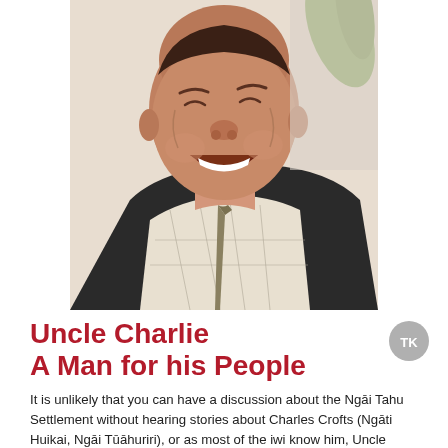[Figure (photo): An elderly man laughing warmly, wearing a checkered shirt and patterned tie, seated in a dark chair, with green plant in background.]
Uncle Charlie
A Man for his People
[Figure (logo): Circular grey logo with letters TK]
It is unlikely that you can have a discussion about the Ngāi Tahu Settlement without hearing stories about Charles Crofts (Ngāti Huikai, Ngāi Tūāhuriri), or as most of the iwi know him, Uncle